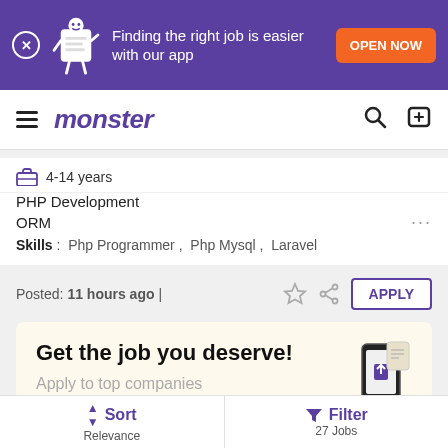[Figure (screenshot): Monster job board app banner: purple background with mascot character, text 'Finding the right job is easier with our app', and orange 'OPEN NOW' button]
monster
4-14 years
PHP Development
ORM
Skills: Php Programmer, Php Mysql, Laravel
Posted: 11 hours ago |
APPLY
Get the job you deserve!
Apply to top companies hiring right now.
Sort Relevance   Filter 27 Jobs